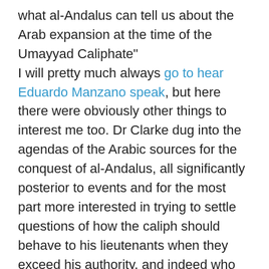what al-Andalus can tell us about the Arab expansion at the time of the Umayyad Caliphate" I will pretty much always go to hear Eduardo Manzano speak, but here there were obviously other things to interest me too. Dr Clarke dug into the agendas of the Arabic sources for the conquest of al-Andalus, all significantly posterior to events and for the most part more interested in trying to settle questions of how the caliph should behave to his lieutenants when they exceed his authority, and indeed who should have been caliph at all and why (for example, being able to restrain those same lieutenants), the result of which is that it's quite hard to say how far either Caliph al-Walīd or the lieutenant in question, Mūsā ibn Nusayr, were in any real control of events. Dr Wilk, on the other hand, saw in them an attempt to picture Muslim Spain as a